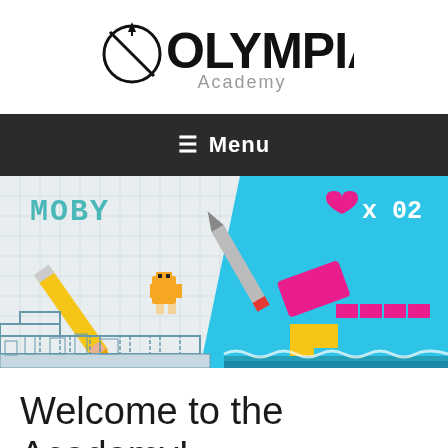[Figure (logo): Olympia Academy logo with compass/circle graphic and stylized OLYMPIA text with Academy subtitle]
≡ Menu
[Figure (illustration): Video game themed banner showing a pixel-art character named MOBY on a sketch background on the left, and a blue game background with pixel heart, eraser, and blocks on the right showing heart x 02]
Welcome to the Academy!